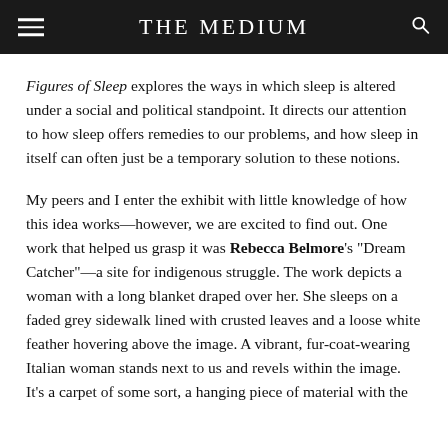THE MEDIUM
Figures of Sleep explores the ways in which sleep is altered under a social and political standpoint. It directs our attention to how sleep offers remedies to our problems, and how sleep in itself can often just be a temporary solution to these notions.
My peers and I enter the exhibit with little knowledge of how this idea works—however, we are excited to find out. One work that helped us grasp it was Rebecca Belmore's “Dream Catcher”—a site for indigenous struggle. The work depicts a woman with a long blanket draped over her. She sleeps on a faded grey sidewalk lined with crusted leaves and a loose white feather hovering above the image. A vibrant, fur-coat-wearing Italian woman stands next to us and revels within the image. It’s a carpet of some sort, a hanging piece of material with the